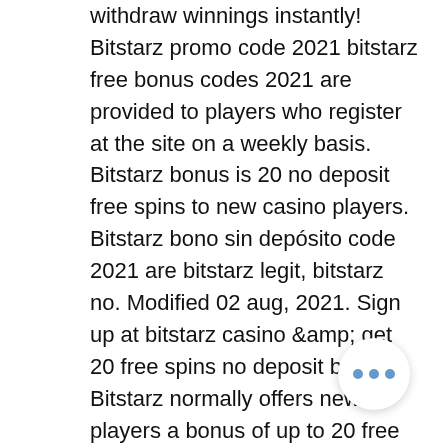withdraw winnings instantly! Bitstarz promo code 2021 bitstarz free bonus codes 2021 are provided to players who register at the site on a weekly basis. Bitstarz bonus is 20 no deposit free spins to new casino players. Bitstarz bono sin depósito code 2021 are bitstarz legit, bitstarz no. Modified 02 aug, 2021. Sign up at bitstarz casino &amp; get 20 free spins no deposit bonus. Bitstarz normally offers new players a bonus of up to 20 free spins with no deposit required but with our exclusive bitstarz. No deposit bonus, get 20 free spins. → bitstarz casino tournaments, take part in tournaments for a chance to win free spins or cash rewards. Enter the promo code and you will get one item valued around $0. 8 şub 2022 — csgo net promo kod - sociali. Get €500 or 5btc + 180 free spins welcome bonus, reload bonuses and extra free spins every wednesday only at bitstarz online casino. Etheroll's game code is a smart-contract